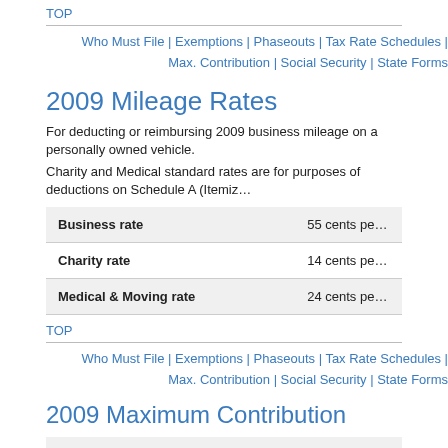TOP
Who Must File | Exemptions | Phaseouts | Tax Rate Schedules | Max. Contribution | Social Security | State Forms
2009 Mileage Rates
For deducting or reimbursing 2009 business mileage on a personally owned vehicle.
Charity and Medical standard rates are for purposes of deductions on Schedule A (Itemized Deductions).
|  |  |
| --- | --- |
| Business rate | 55 cents pe… |
| Charity rate | 14 cents pe… |
| Medical & Moving rate | 24 cents pe… |
TOP
Who Must File | Exemptions | Phaseouts | Tax Rate Schedules | Max. Contribution | Social Security | State Forms
2009 Maximum Contribution
| IRA |
| --- |